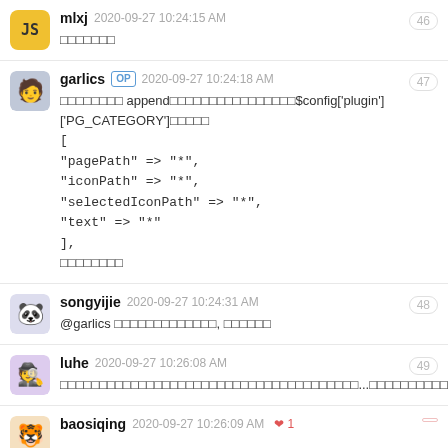mlxj  2020-09-27 10:24:15 AM  46
□□□□□□□
garlics OP  2020-09-27 10:24:18 AM  47
□□□□□□□□ append□□□□□□□□□□□□□□□□$config['plugin']['PG_CATEGORY']□□□□□
[
"pagePath" => "*",
"iconPath" => "*",
"selectedIconPath" => "*",
"text" => "*"
],
□□□□□□□□
songyijie  2020-09-27 10:24:31 AM  48
@garlics □□□□□□□□□□□□□, □□□□□□
luhe  2020-09-27 10:26:08 AM  49
□□□□□□□□□□□□□□□□□□□□□□□□□□□□□□□□□□□□□□...□□□□□□□□□□□□□□□...
baosiqing  2020-09-27 10:26:09 AM  ❤ 1